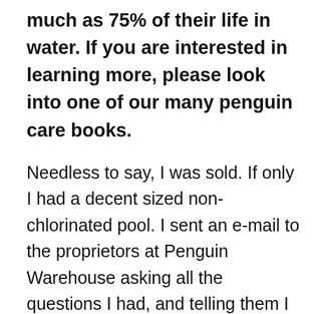much as 75% of their life in water. If you are interested in learning more, please look into one of our many penguin care books.
Needless to say, I was sold. If only I had a decent sized non-chlorinated pool. I sent an e-mail to the proprietors at Penguin Warehouse asking all the questions I had, and telling them I was ready to order. They had a variety of breeds and ages available, and after a couple hours of research, I decided on a Snares Island penguin. I was going to name him Magellan.